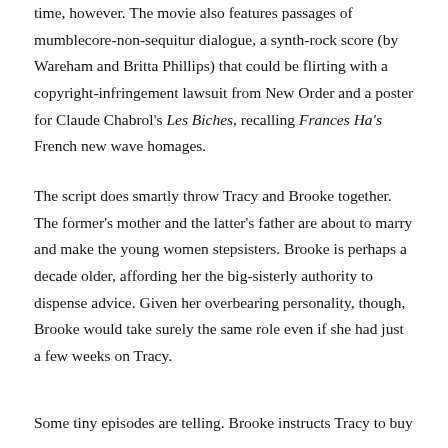time, however. The movie also features passages of mumblecore-non-sequitur dialogue, a synth-rock score (by Wareham and Britta Phillips) that could be flirting with a copyright-infringement lawsuit from New Order and a poster for Claude Chabrol's Les Biches, recalling Frances Ha's French new wave homages.
The script does smartly throw Tracy and Brooke together. The former's mother and the latter's father are about to marry and make the young women stepsisters. Brooke is perhaps a decade older, affording her the big-sisterly authority to dispense advice. Given her overbearing personality, though, Brooke would take surely the same role even if she had just a few weeks on Tracy.
Some tiny episodes are telling. Brooke instructs Tracy to buy